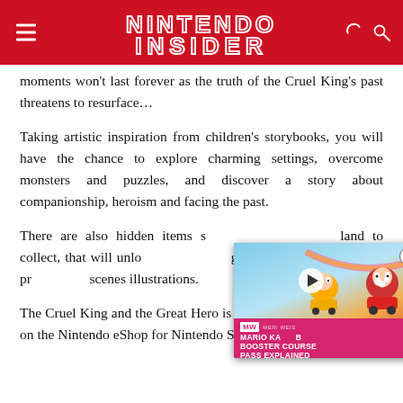NINTENDO INSIDER
moments won't last forever as the truth of the Cruel King's past threatens to resurface…
Taking artistic inspiration from children's storybooks, you will have the chance to explore charming settings, overcome monsters and puzzles, and discover a story about companionship, heroism and facing the past.
There are also hidden items s[cattered across every] land to collect, that will unlo[ck content in a] gallery – such as character pr[ofiles and] scenes illustrations.
[Figure (screenshot): Video thumbnail overlay for Mario Kart 8 Booster Course Pass Explained on MeriWeather website, with pink/red branding, play button, and Mario characters in background]
The Cruel King and the Great Hero is now available at retail and on the Nintendo eShop for Nintendo Switch